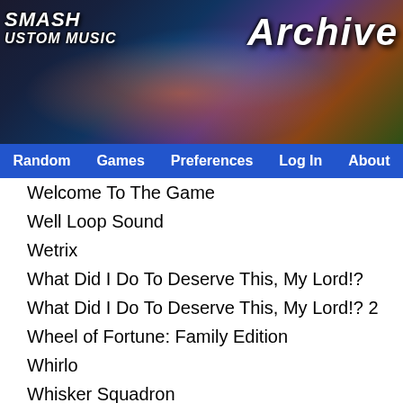[Figure (screenshot): Smash Custom Music website header banner with game characters and 'Archive' text]
Random | Games | Preferences | Log In | About
Welcome To The Game
Well Loop Sound
Wetrix
What Did I Do To Deserve This, My Lord!?
What Did I Do To Deserve This, My Lord!? 2
Wheel of Fortune: Family Edition
Whirlo
Whisker Squadron
White Knight Chronicles
Who Framed Roger Rabbit (NES)
Wii Fit
Wii Fit Plus
Wii Fit U
Wii Music
Wii Party
Wii Play